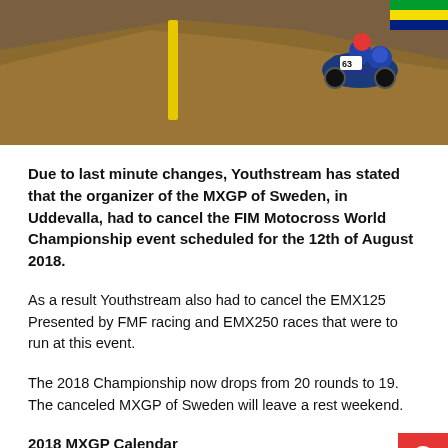[Figure (photo): Motocross riders racing on a dirt track with a steep berm, yellow marker pole visible, riders on blue bikes with crowd/flags in background.]
Due to last minute changes, Youthstream has stated that the organizer of the MXGP of Sweden, in Uddevalla, had to cancel the FIM Motocross World Championship event scheduled for the 12th of August 2018.
As a result Youthstream also had to cancel the EMX125 Presented by FMF racing and EMX250 races that were to run at this event.
The 2018 Championship now drops from 20 rounds to 19. The canceled MXGP of Sweden will leave a rest weekend.
2018 MXGP Calendar
Round 1 March 4 MXGP ‰ÛÒ Patagonia, Argentina